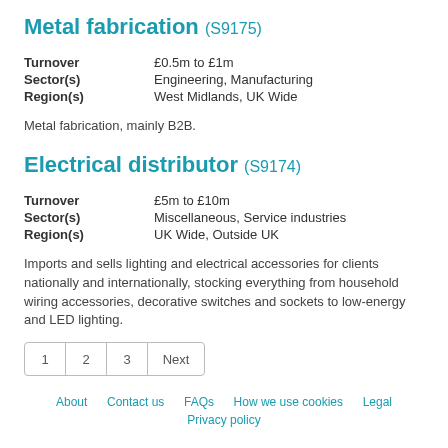Metal fabrication (S9175)
| Turnover | £0.5m to £1m |
| Sector(s) | Engineering, Manufacturing |
| Region(s) | West Midlands, UK Wide |
Metal fabrication, mainly B2B.
Electrical distributor (S9174)
| Turnover | £5m to £10m |
| Sector(s) | Miscellaneous, Service industries |
| Region(s) | UK Wide, Outside UK |
Imports and sells lighting and electrical accessories for clients nationally and internationally, stocking everything from household wiring accessories, decorative switches and sockets to low-energy and LED lighting.
1  2  3  Next
About  Contact us  FAQs  How we use cookies  Legal  Privacy policy